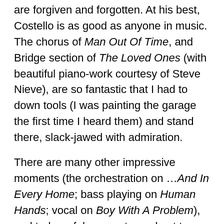are forgiven and forgotten. At his best, Costello is as good as anyone in music. The chorus of Man Out Of Time, and Bridge section of The Loved Ones (with beautiful piano-work courtesy of Steve Nieve), are so fantastic that I had to down tools (I was painting the garage the first time I heard them) and stand there, slack-jawed with admiration.
There are many other impressive moments (the orchestration on … And In Every Home; bass playing on Human Hands; vocal on Boy With A Problem), and truly awful moments are kept to a minimum, with the only notable exception being the turgid Tears Before Bedtime. A few weak tracks (Shabby Doll; Almost Blue; Little Savage) do prevent this album from being brilliant, but on the whole, a big thumbs up for Elvis and the boys.